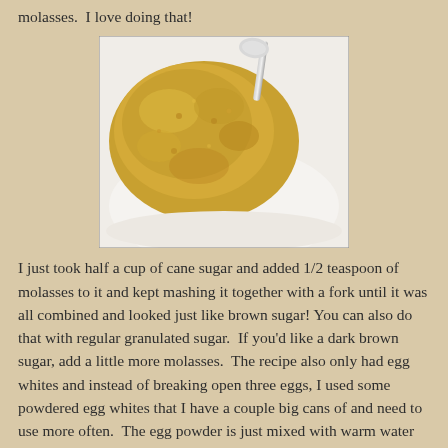molasses.  I love doing that!
[Figure (photo): A white bowl containing golden-brown sugar mixed with molasses, with a metal fork or spoon resting in it.]
I just took half a cup of cane sugar and added 1/2 teaspoon of molasses to it and kept mashing it together with a fork until it was all combined and looked just like brown sugar! You can also do that with regular granulated sugar.  If you'd like a dark brown sugar, add a little more molasses.  The recipe also only had egg whites and instead of breaking open three eggs, I used some powdered egg whites that I have a couple big cans of and need to use more often.  The egg powder is just mixed with warm water and whisked until